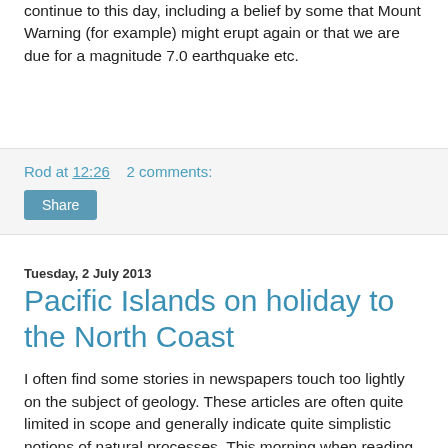continue to this day, including a belief by some that Mount Warning (for example) might erupt again or that we are due for a magnitude 7.0 earthquake etc.
Rod at 12:26    2 comments:
Share
Tuesday, 2 July 2013
Pacific Islands on holiday to the North Coast
I often find some stories in newspapers touch too lightly on the subject of geology. These articles are often quite limited in scope and generally indicate quite simplistic notions of natural processes. This morning when reading a local newspaper The Tweed Daily News, I came across one such article. A link can to the article can be found here. This article is interesting because it covers some surprising points, but as Dr Malcom Clark an Environmental Geochemist from